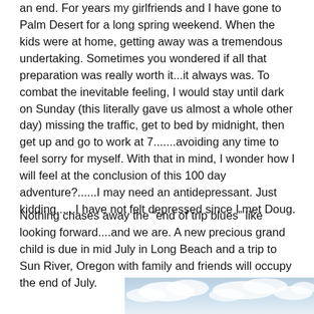an end.  For years my girlfriends and I have gone to Palm Desert for a long spring weekend.  When the kids were at home, getting away was a tremendous undertaking.  Sometimes you wondered if all that preparation was really worth it...it always was.  To combat the inevitable feeling, I would stay until dark on Sunday (this literally gave us almost a whole other day) missing the traffic, get to bed by midnight, then get up and go to work at 7.......avoiding any time to feel sorry for myself.  With that in mind, I wonder how I will feel at the conclusion of this 100 day adventure?......I may need an antidepressant.  Just kidding......I have not felt depressed since I met Doug.
Nothing chases away the “end of trip blues” like looking forward....and we are. A new precious grand child is due in mid July in Long Beach and a trip to Sun River, Oregon with family and friends will occupy the end of July.
[Figure (photo): Partial view of sky with clouds, bottom portion of photograph visible at page bottom]